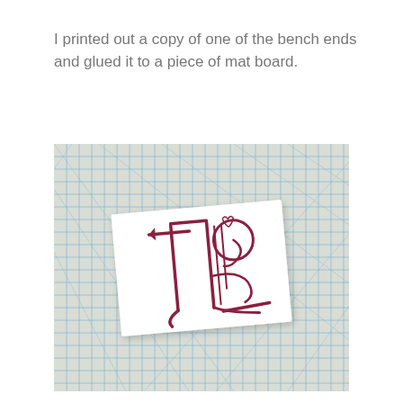I printed out a copy of one of the bench ends and glued it to a piece of mat board.
[Figure (photo): A photograph taken from above showing a cutting mat with blue grid lines and diagonal lines, with a white card placed on it at a slight angle. The white card has a decorative bench end design printed on it in dark red/maroon, showing an ornate scrollwork pattern with vertical supports.]